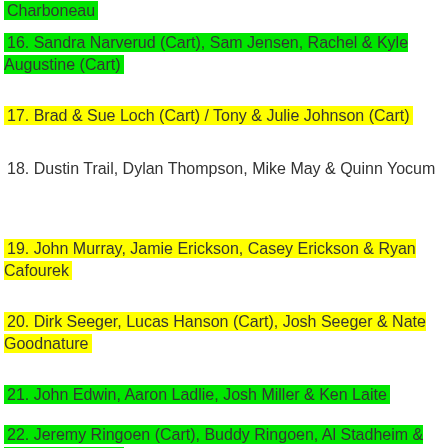Charboneau
16.  Sandra Narverud (Cart), Sam Jensen, Rachel & Kyle Augustine (Cart)
17. Brad & Sue Loch (Cart) / Tony & Julie Johnson (Cart)
18.  Dustin Trail, Dylan Thompson, Mike May & Quinn Yocum
19. John Murray, Jamie Erickson, Casey Erickson & Ryan Cafourek
20. Dirk Seeger, Lucas Hanson (Cart), Josh Seeger & Nate Goodnature
21. John Edwin, Aaron Ladlie, Josh Miller & Ken Laite
22. Jeremy Ringoen (Cart),  Buddy Ringoen, Al Stadheim & Logan Stadheim